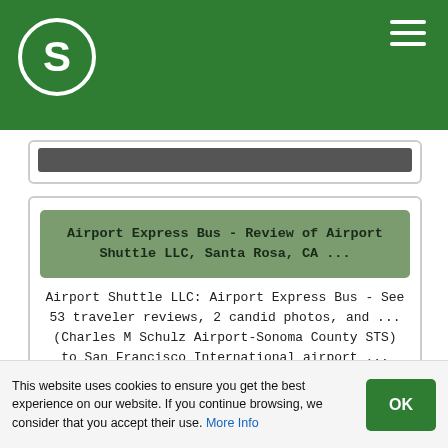[Figure (logo): Green header bar with white S logo circle on left and hamburger menu icon on right]
[Figure (screenshot): Partial search result card with dark gray bar, partially visible]
Airport Express Bus - Review of Airport Shuttle LLC, Santa Rosa, CA ...
Airport Shuttle LLC: Airport Express Bus - See 53 traveler reviews, 2 candid photos, and ... (Charles M Schulz Airport-Sonoma County STS) to San Francisco International airport ... This review is the subjective opinion of a TripAdvisor member and not of TripAdvisor LLC. ... Prompt and courteous both on drop off and pick up.
This website uses cookies to ensure you get the best experience on our website. If you continue browsing, we consider that you accept their use. More Info